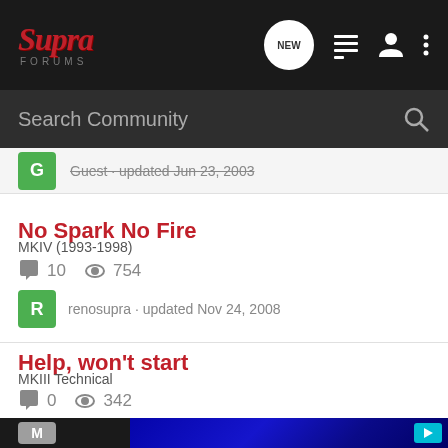Supra Forums
Search Community
Guest · updated Jun 23, 2003
No Spark No Fire
MKIV (1993-1998)
10 comments · 754 views
renosupra · updated Nov 24, 2008
Help, won't start
MKIII Technical
0 comments · 342 views
Mi... · updated ...